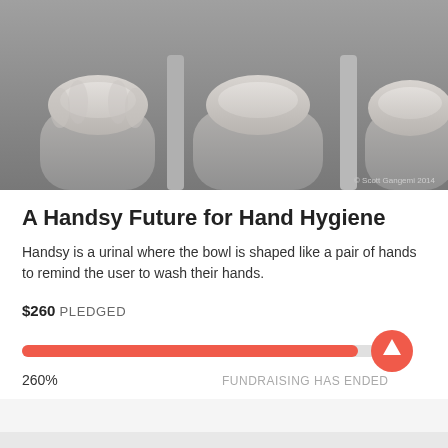[Figure (photo): Black and white photo of three urinals shaped like cupped hands viewed from above, with soap/water foam visible. Copyright text reads '© Scott Gangemi 2014'.]
A Handsy Future for Hand Hygiene
Handsy is a urinal where the bowl is shaped like a pair of hands to remind the user to wash their hands.
$260 PLEDGED
[Figure (infographic): Progress bar showing 260% funded, filled in red/coral color with an upward arrow circle icon at the end. Labels show '260%' on the left and 'FUNDRAISING HAS ENDED' on the right.]